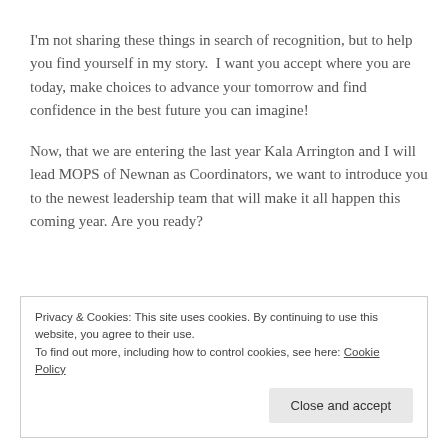I'm not sharing these things in search of recognition, but to help you find yourself in my story.  I want you accept where you are today, make choices to advance your tomorrow and find confidence in the best future you can imagine!
Now, that we are entering the last year Kala Arrington and I will lead MOPS of Newnan as Coordinators, we want to introduce you to the newest leadership team that will make it all happen this coming year. Are you ready?
Privacy & Cookies: This site uses cookies. By continuing to use this website, you agree to their use.
To find out more, including how to control cookies, see here: Cookie Policy

Close and accept